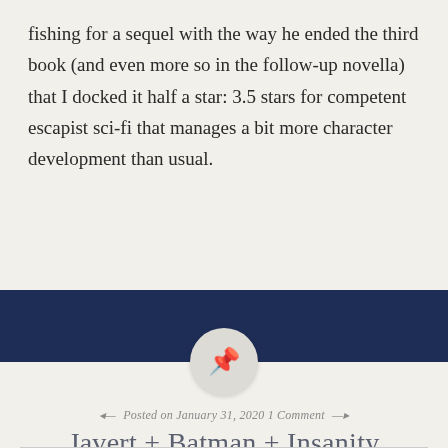fishing for a sequel with the way he ended the third book (and even more so in the follow-up novella) that I docked it half a star: 3.5 stars for competent escapist sci-fi that manages a bit more character development than usual.
[Figure (other): Navy blue horizontal bar divider with a circular pin icon centered on it]
Posted on January 31, 2020 1 Comment
Javert + Batman + Insanity